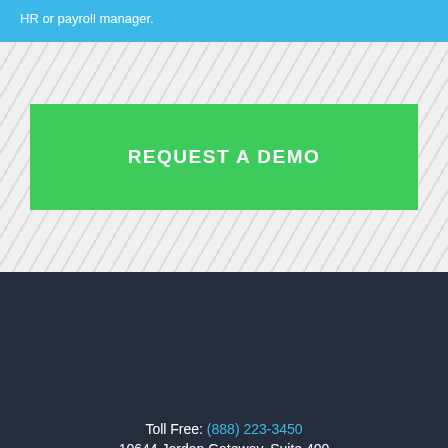HR or payroll manager.
REQUEST A DEMO
Toll Free: (888) 223-3450
10644 Jordan Gateway, Suite 400